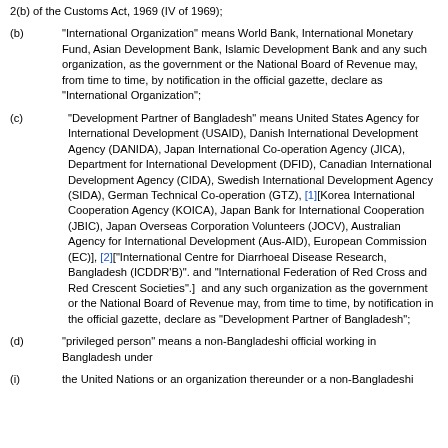2(b) of the Customs Act, 1969 (IV of 1969);
(b) "International Organization" means World Bank, International Monetary Fund, Asian Development Bank, Islamic Development Bank and any such organization, as the government or the National Board of Revenue may, from time to time, by notification in the official gazette, declare as "International Organization";
(c) "Development Partner of Bangladesh" means United States Agency for International Development (USAID), Danish International Development Agency (DANIDA), Japan International Co-operation Agency (JICA), Department for International Development (DFID), Canadian International Development Agency (CIDA), Swedish International Development Agency (SIDA), German Technical Co-operation (GTZ), [1][Korea International Cooperation Agency (KOICA), Japan Bank for International Cooperation (JBIC), Japan Overseas Corporation Volunteers (JOCV), Australian Agency for International Development (Aus-AID), European Commission (EC)], [2]["International Centre for Diarrhoeal Disease Research, Bangladesh (ICDDR'B)". and "International Federation of Red Cross and Red Crescent Societies".]  and any such organization as the government or the National Board of Revenue may, from time to time, by notification in the official gazette, declare as "Development Partner of Bangladesh";
(d) "privileged person" means a non-Bangladeshi official working in Bangladesh under
(i) the United Nations or an organization thereunder or a non-Bangladeshi